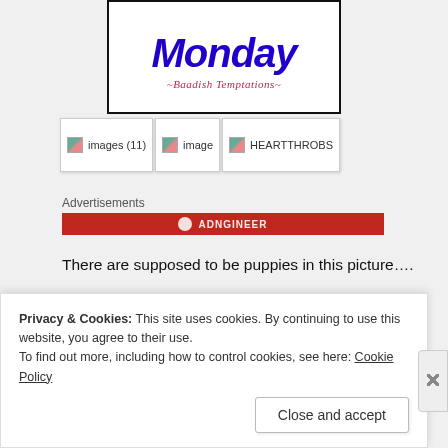[Figure (illustration): Blog banner image showing cursive blue bold text 'Monday' and pink italic subtitle '-Baadish Temptations-' on white background with black border]
[Figure (photo): Row of three thumbnail images: 'images (11)', 'image', and 'HEARTTHROBS' with broken image icons]
Advertisements
[Figure (other): Red advertisement bar with white circle icon and text]
There are supposed to be puppies in this picture….
[Figure (photo): Dark photo showing an epix branded sign/board at an angle]
Privacy & Cookies: This site uses cookies. By continuing to use this website, you agree to their use.
To find out more, including how to control cookies, see here: Cookie Policy
Close and accept